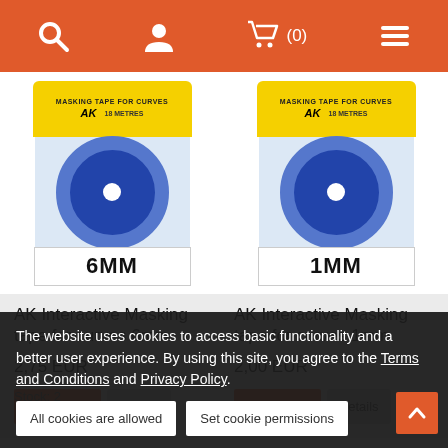Navigation bar with search, user, cart (0), and menu icons
[Figure (photo): AK Interactive Masking tape for curves 6mm product package — blue tape roll in yellow packaging]
[Figure (photo): AK Interactive Masking tape for curves 1mm product package — blue tape roll in yellow packaging]
AK Interactive Masking tape for curves 6mm
2,75 EUR
Add to cart  Details
AK Interactive Masking tape for curves 1mm
2,00 EUR
Add to cart  Details
Stock: 2
The website uses cookies to access basic functionality and a better user experience. By using this site, you agree to the Terms and Conditions and Privacy Policy.
All cookies are allowed  Set cookie permissions